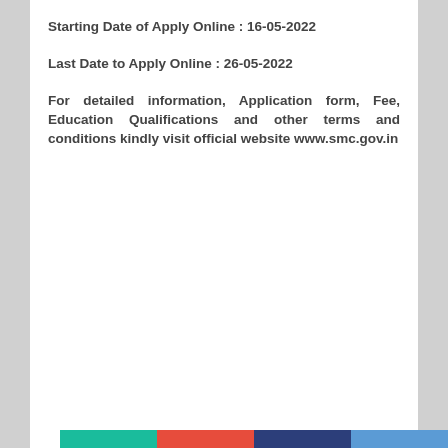Starting Date of Apply Online : 16-05-2022
Last Date to Apply Online : 26-05-2022
For detailed information, Application form, Fee, Education Qualifications and other terms and conditions kindly visit official website www.smc.gov.in